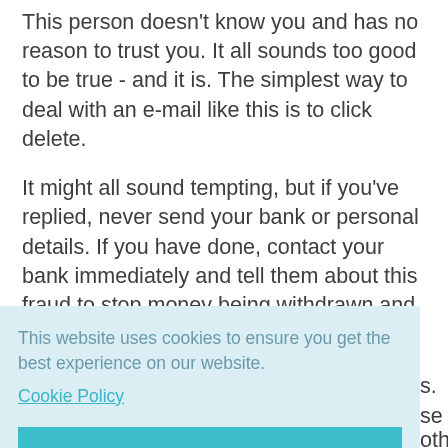This person doesn't know you and has no reason to trust you. It all sounds too good to be true - and it is. The simplest way to deal with an e-mail like this is to click delete.
It might all sound tempting, but if you've replied, never send your bank or personal details. If you have done, contact your bank immediately and tell them about this fraud to stop money being withdrawn and sent
s.
se
oth
iP)
This website uses cookies to ensure you get the best experience on our website.
Cookie Policy
Got it!
(abuse@hotmail.com, for example)